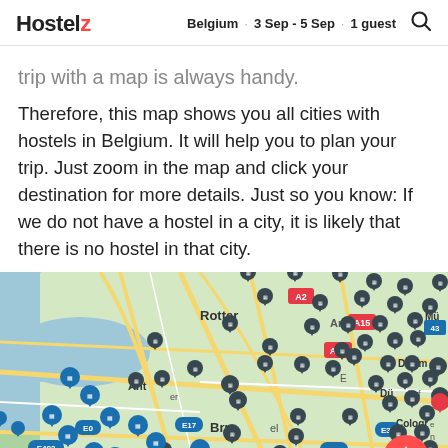Hostelz · Belgium · 3 Sep - 5 Sep · 1 guest
trip with a map is always handy.
Therefore, this map shows you all cities with hostels in Belgium. It will help you to plan your trip. Just zoom in the map and click your destination for more details. Just so you know: If we do not have a hostel in a city, it is likely that there is no hostel in that city.
[Figure (map): Interactive map showing Belgium and surrounding regions (Netherlands, Germany, France) with hostel location pins. Cities visible include Rotterdam, Antwerp, Brussels, Arnhem, Dortmund, Düsseldorf, Cologne, Lille. Map shows road numbers A2, A15, A27, E17, E31, E40, E42, E403, 43, 44. Many dark and blue map pins indicating hostel locations scattered across the map.]